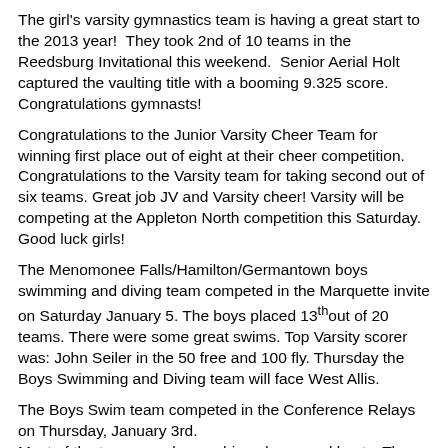The girl's varsity gymnastics team is having a great start to the 2013 year!  They took 2nd of 10 teams in the Reedsburg Invitational this weekend.  Senior Aerial Holt captured the vaulting title with a booming 9.325 score.  Congratulations gymnasts!
Congratulations to the Junior Varsity Cheer Team for winning first place out of eight at their cheer competition. Congratulations to the Varsity team for taking second out of six teams. Great job JV and Varsity cheer! Varsity will be competing at the Appleton North competition this Saturday. Good luck girls!
The Menomonee Falls/Hamilton/Germantown boys swimming and diving team competed in the Marquette invite on Saturday January 5. The boys placed 13th out of 20 teams. There were some great swims. Top Varsity scorer was: John Seiler in the 50 free and 100 fly. Thursday the Boys Swimming and Diving team will face West Allis.
The Boys Swim team competed in the Conference Relays on Thursday, January 3rd.
Most of the team members achieved personal bests. The Varsity team finished in 6th place and the Junior Varsity team finished 5th.
Congratulation to the Indians wrestling team for their 69-7 victory over Marquette last Thursday night.  The Indians are currently undefeated in GMC dual and are ranked 6th in